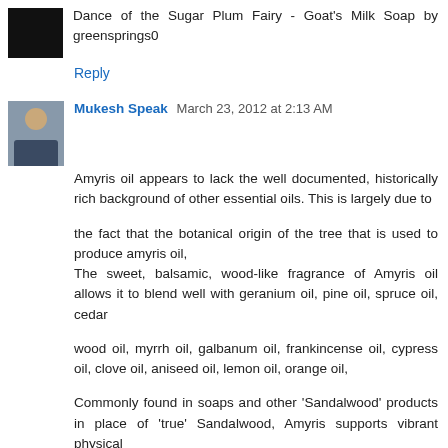Dance of the Sugar Plum Fairy - Goat's Milk Soap by greensprings0
Reply
Mukesh Speak  March 23, 2012 at 2:13 AM
Amyris oil appears to lack the well documented, historically rich background of other essential oils. This is largely due to
the fact that the botanical origin of the tree that is used to produce amyris oil,
The sweet, balsamic, wood-like fragrance of Amyris oil allows it to blend well with geranium oil, pine oil, spruce oil, cedar
wood oil, myrrh oil, galbanum oil, frankincense oil, cypress oil, clove oil, aniseed oil, lemon oil, orange oil,
Commonly found in soaps and other 'Sandalwood' products in place of 'true' Sandalwood, Amyris supports vibrant physical